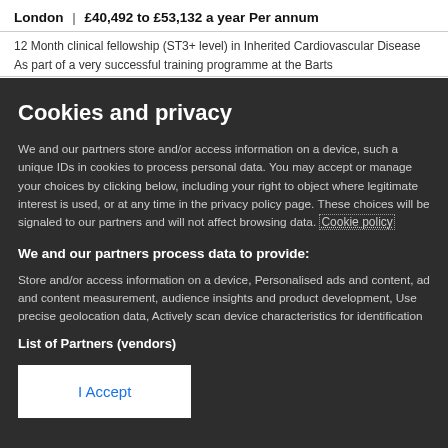London | £40,492 to £53,132 a year Per annum
12 Month clinical fellowship (ST3+ level) in Inherited Cardiovascular Disease As part of a very successful training programme at the Barts
Cookies and privacy
We and our partners store and/or access information on a device, such as unique IDs in cookies to process personal data. You may accept or manage your choices by clicking below, including your right to object where legitimate interest is used, or at any time in the privacy policy page. These choices will be signaled to our partners and will not affect browsing data. Cookie policy
We and our partners process data to provide:
Store and/or access information on a device, Personalised ads and content, ad and content measurement, audience insights and product development, Use precise geolocation data, Actively scan device characteristics for identification
List of Partners (vendors)
I Accept